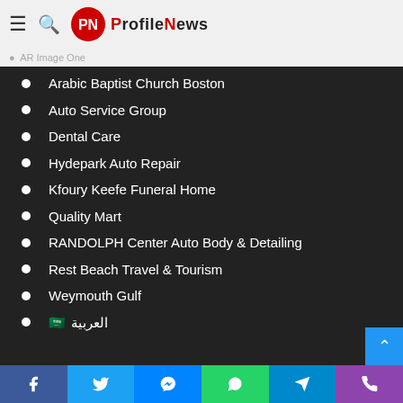ProfileNews
Contact us
AR Image One
Arabic Baptist Church Boston
Auto Service Group
Dental Care
Hydepark Auto Repair
Kfoury Keefe Funeral Home
Quality Mart
RANDOLPH Center Auto Body & Detailing
Rest Beach Travel & Tourism
Weymouth Gulf
العربية
Facebook Twitter Messenger WhatsApp Telegram Phone